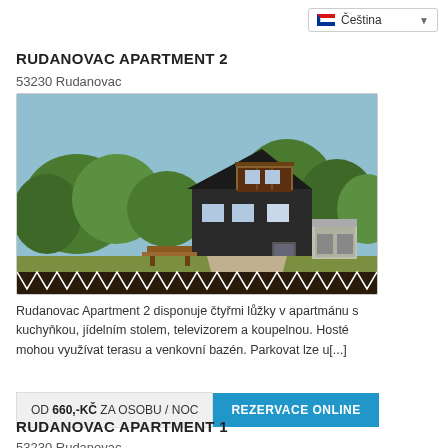Čeština
RUDANOVAC APARTMENT 2
53230 Rudanovac
[Figure (photo): Photograph of a holiday apartment/chalet building surrounded by green trees, with a balcony visible, picnic table outside, and a decorative wooden fence in the foreground.]
Rudanovac Apartment 2 disponuje čtyřmi lůžky v apartmánu s kuchyňkou, jídelním stolem, televizorem a koupelnou. Hosté mohou využívat terasu a venkovní bazén. Parkovat lze u[...]
OD 660,-KČ ZA OSOBU / NOC
REZERVACE ONLINE
RUDANOVAC APARTMENT 1
53230 Rudanovac